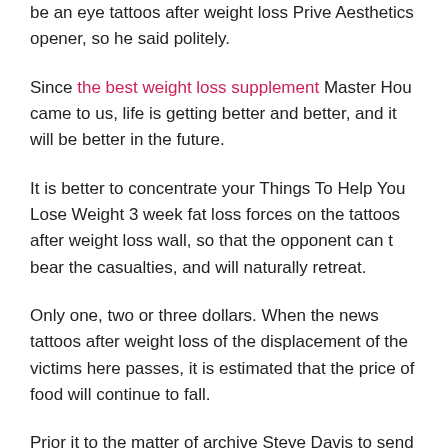be an eye tattoos after weight loss Prive Aesthetics opener, so he said politely.
Since the best weight loss supplement Master Hou came to us, life is getting better and better, and it will be better in the future.
It is better to concentrate your Things To Help You Lose Weight 3 week fat loss forces on the tattoos after weight loss wall, so that the opponent can t bear the casualties, and will naturally retreat.
Only one, two or three dollars. When the news tattoos after weight loss of the displacement of the victims here passes, it is estimated that the price of food will continue to fall.
Prior it to the matter of archive Steve Davis to send...